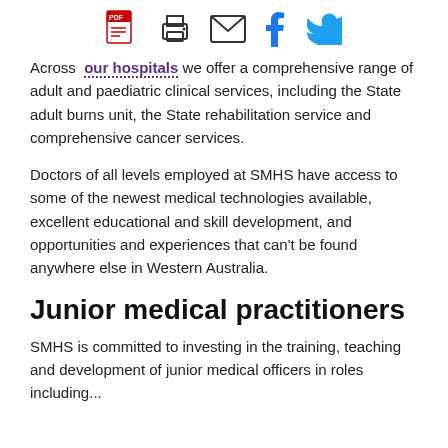[icons: PDF, print, email, Facebook, Twitter]
Across our hospitals we offer a comprehensive range of adult and paediatric clinical services, including the State adult burns unit, the State rehabilitation service and comprehensive cancer services.
Doctors of all levels employed at SMHS have access to some of the newest medical technologies available, excellent educational and skill development, and opportunities and experiences that can't be found anywhere else in Western Australia.
Junior medical practitioners
SMHS is committed to investing in the training, teaching and development of junior medical officers in roles including...